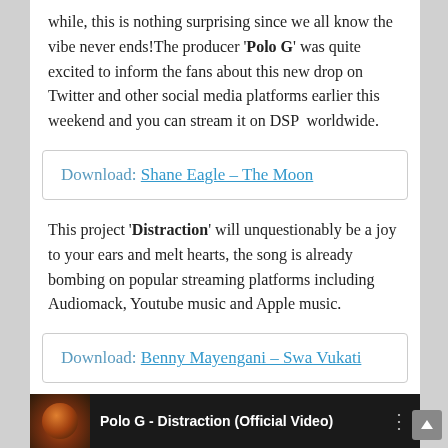while, this is nothing surprising since we all know the vibe never ends!The producer 'Polo G' was quite excited to inform the fans about this new drop on Twitter and other social media platforms earlier this weekend and you can stream it on DSP  worldwide.
Download: Shane Eagle – The Moon
This project 'Distraction' will unquestionably be a joy to your ears and melt hearts, the song is already bombing on popular streaming platforms including Audiomack, Youtube music and Apple music.
Download: Benny Mayengani – Swa Vukati
DOWNLOAD NOW
[Figure (screenshot): Video thumbnail bar showing 'Polo G - Distraction (Official Video)' with a dark background and circular thumbnail image.]